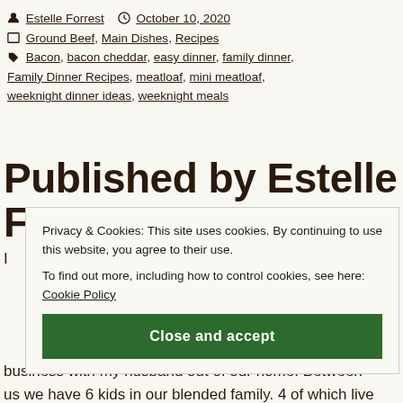👤 Estelle Forrest  🕐 October 10, 2020
📁 Ground Beef, Main Dishes, Recipes
🏷 Bacon, bacon cheddar, easy dinner, family dinner, Family Dinner Recipes, meatloaf, mini meatloaf, weeknight dinner ideas, weeknight meals
Published by Estelle Forrest
...body text partially visible...
business with my husband out of our home. Between us we have 6 kids in our blended family. 4 of which live
Privacy & Cookies: This site uses cookies. By continuing to use this website, you agree to their use.
To find out more, including how to control cookies, see here: Cookie Policy
Close and accept